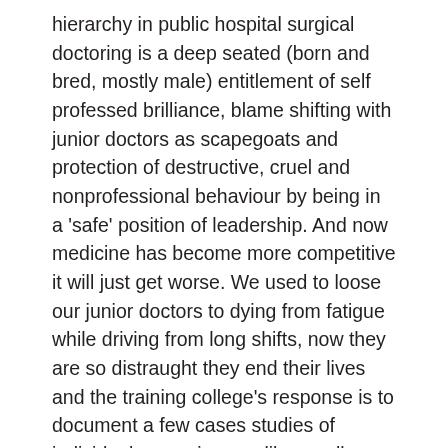hierarchy in public hospital surgical doctoring is a deep seated (born and bred, mostly male) entitlement of self professed brilliance, blame shifting with junior doctors as scapegoats and protection of destructive, cruel and nonprofessional behaviour by being in a 'safe' position of leadership. And now medicine has become more competitive it will just get worse. We used to loose our junior doctors to dying from fatigue while driving from long shifts, now they are so distraught they end their lives and the training college's response is to document a few cases studies of individuals experiences, like a callous side show. Yes RACS, you may be aware but what are you DOING about it. I suggest touching base with your medical students they will give you a true insight into how the 'system'= real surgeons treat them. Operating with Respect mission statement campaign is not worth the paper/hard drive it is written on, but it